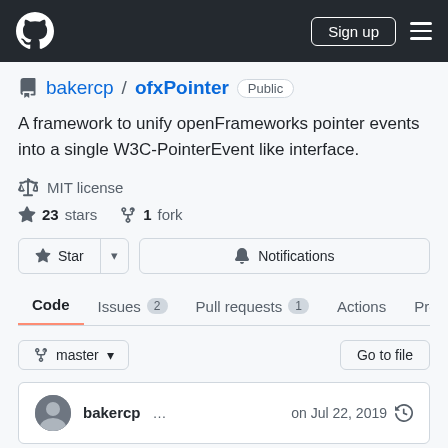GitHub header with logo, Sign up button, and menu
bakercp / ofxPointer Public
A framework to unify openFrameworks pointer events into a single W3C-PointerEvent like interface.
MIT license
23 stars   1 fork
Star | Notifications
Code   Issues 2   Pull requests 1   Actions   Projects
master  Go to file
bakercp  ...   on Jul 22, 2019